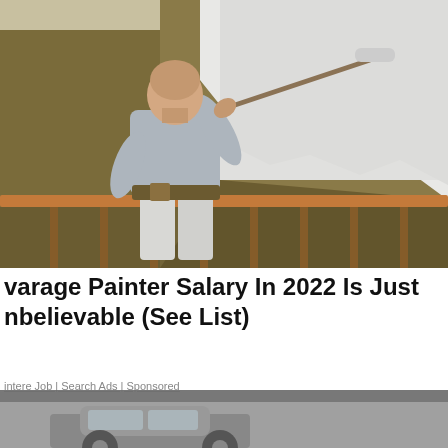[Figure (photo): A bald man in a light grey t-shirt painting a room wall white using a roller on a long handle. He is standing on what appears to be a staircase landing with wooden railing visible. The walls are olive/tan colored and partially painted white.]
varage Painter Salary In 2022 Is Just nbelievable (See List)
intere Job | Search Ads | Sponsored
We and our partners use cookies on this site to improve our service, perform analytics, personalize advertising, measure advertising performance, and remember website preferences.
Ok
[Figure (photo): Partial view of a car visible at the bottom of the page behind the cookie consent overlay.]